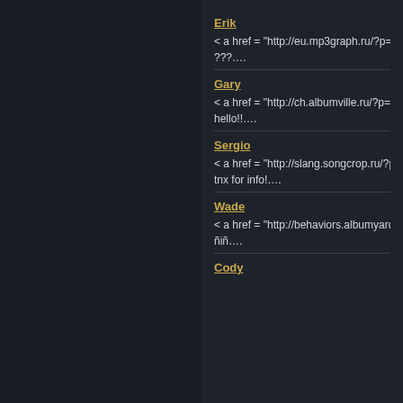Erik
< a href = "http://eu.mp3graph.ru/?p=368...
???....
Gary
< a href = "http://ch.albumville.ru/?p=158...
hello!!....
Sergio
< a href = "http://slang.songcrop.ru/?p=26...
tnx for info!....
Wade
< a href = "http://behaviors.albumyard.ru...
ñiñ....
Cody